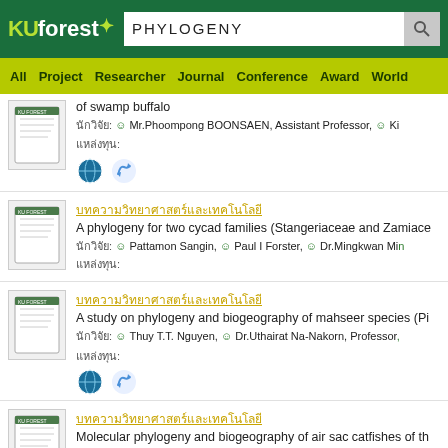KUforest — PHYLOGENY search page
All  Project  Researcher  Journal  Conference  Award  World
of swamp buffalo
นักวิจัย: Mr.Phoompong BOONSAEN, Assistant Professor, Ki
แหล่งทุน:
บทความวิทยาศาสตร์และเทคโนโลยี
A phylogeny for two cycad families (Stangeriaceae and Zamiace
นักวิจัย: Pattamon Sangin, Paul I Forster, Dr.Mingkwan Mi
แหล่งทุน:
บทความวิทยาศาสตร์และเทคโนโลยี
A study on phylogeny and biogeography of mahseer species (Pi
นักวิจัย: Thuy T.T. Nguyen, Dr.Uthairat Na-Nakorn, Professor
แหล่งทุน:
บทความวิทยาศาสตร์และเทคโนโลยี
Molecular phylogeny and biogeography of air sac catfishes of th
นักวิจัย: Mr.Sahat Ratmuangkhwang, Dr.Prachya Musikasinth
แหล่งทุน: